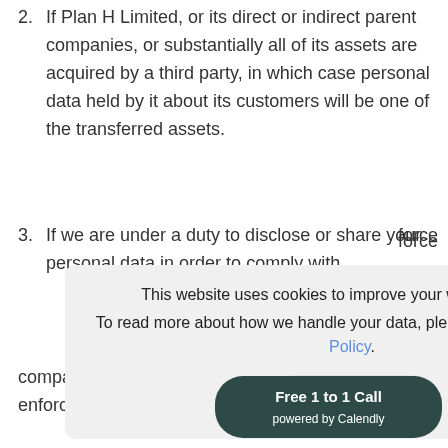2. If Plan H Limited, or its direct or indirect parent companies, or substantially all of its assets are acquired by a third party, in which case personal data held by it about its customers will be one of the transferred assets.
3. If we are under a duty to disclose or share your personal data in order to comply with [force/or — partially visible due to cookie overlay]
[Figure (screenshot): Cookie consent banner popup reading: 'This website uses cookies to improve your web experience. To read more about how we handle your data, please review our Privacy Policy.' with an Accept button.]
[Figure (other): Dark teal pill button reading 'Free 1 to 1 Call powered by Calendly']
companies, organisations [partially visible] enforcement agencies for the purposes of [cut off]